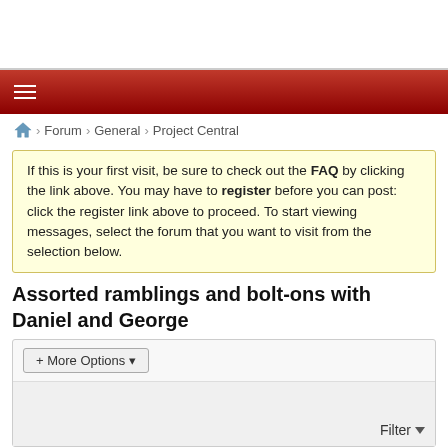[Figure (screenshot): White advertisement banner area at top of page]
Navigation bar with hamburger menu icon, dark red background
Home > Forum > General > Project Central
If this is your first visit, be sure to check out the FAQ by clicking the link above. You may have to register before you can post: click the register link above to proceed. To start viewing messages, select the forum that you want to visit from the selection below.
Assorted ramblings and bolt-ons with Daniel and George
+ More Options
Filter
Previous  1  14  15  16  Next